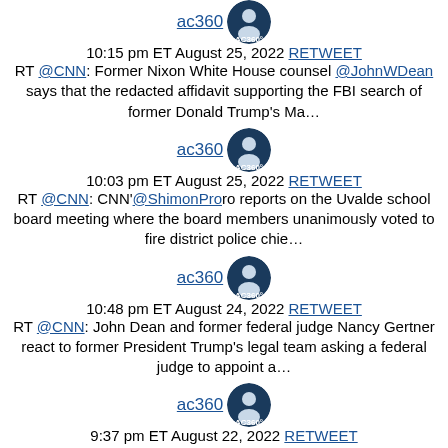ac360 [avatar] 10:15 pm ET August 25, 2022 RETWEET RT @CNN: Former Nixon White House counsel @JohnWDean says that the redacted affidavit supporting the FBI search of former Donald Trump's Ma…
ac360 [avatar] 10:03 pm ET August 25, 2022 RETWEET RT @CNN: CNN'@ShimonProro reports on the Uvalde school board meeting where the board members unanimously voted to fire district police chie…
ac360 [avatar] 10:48 pm ET August 24, 2022 RETWEET RT @CNN: John Dean and former federal judge Nancy Gertner react to former President Trump's legal team asking a federal judge to appoint a…
ac360 [avatar] 9:37 pm ET August 22, 2022 RETWEET Tonight on @60Minutes: My report on Alexander McLean and his organization Justice Defenders, @justicedefends. They◆twitter.com/i/web/status/1…xK